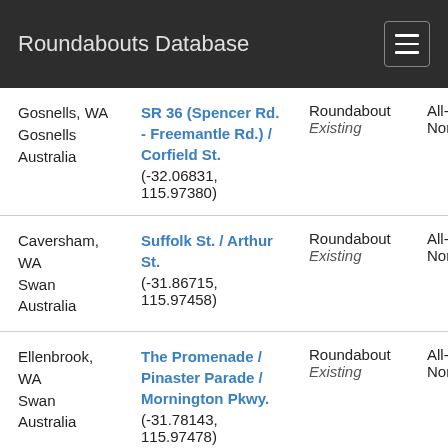Roundabouts Database
| Location | Intersection | Type/Status | Control |
| --- | --- | --- | --- |
| Gosnells, WA
Gosnells
Australia | SR 36 (Spencer Rd. - Freemantle Rd.) / Corfield St.
(-32.06831, 115.97380) | Roundabout
Existing | All-Wa
None |
| Caversham, WA
Swan
Australia | Suffolk St. / Arthur St.
(-31.86715, 115.97458) | Roundabout
Existing | All-Wa
None |
| Ellenbrook, WA
Swan
Australia | The Promenade / Pinaster Parade / Mornington Pkwy.
(-31.78143, 115.97478) | Roundabout
Existing | All-Wa
None |